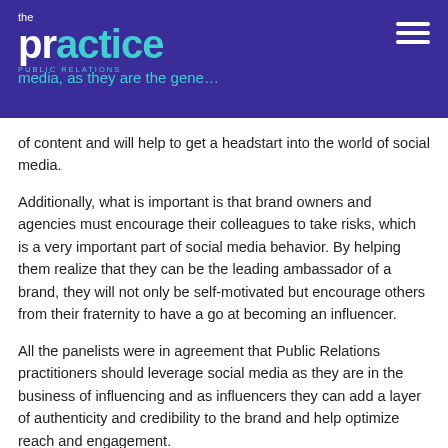the practice PUBLIC RELATIONS
media, as they are the generators of content and will help to get a headstart into the world of social media.
Additionally, what is important is that brand owners and agencies must encourage their colleagues to take risks, which is a very important part of social media behavior. By helping them realize that they can be the leading ambassador of a brand, they will not only be self-motivated but encourage others from their fraternity to have a go at becoming an influencer.
All the panelists were in agreement that Public Relations practitioners should leverage social media as they are in the business of influencing and as influencers they can add a layer of authenticity and credibility to the brand and help optimize reach and engagement.